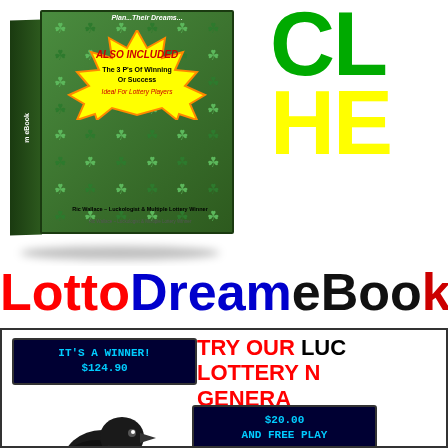[Figure (photo): Lotto Dream eBook cover mockup with green shamrock background, yellow starburst 'ALSO INCLUDED - The 3 P's Of Winning Or Success - Ideal For Lottery Players', by Ric Wallace Luckologist & Multiple Lottery Winner. Top right shows partially visible large green text 'CL' and 'HE' (truncated).]
LottoDreameBook
[Figure (photo): Bottom advertisement panel with a crow/raven bird, two blue LED lottery display signs reading 'IT'S A WINNER! $124.90' and '$20.00 AND FREE PLAY', and red/black text 'TRY OUR LUC[KY] LOTTERY N[UMBER] GENERA[TOR] FOR F[REE]']